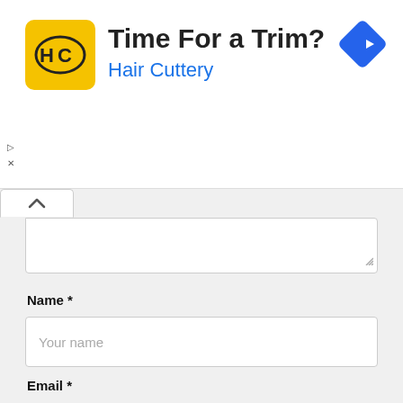[Figure (screenshot): Hair Cuttery advertisement banner with yellow logo showing 'HC', headline 'Time For a Trim?' and subheading 'Hair Cuttery' in blue, with a blue diamond navigation arrow icon on the right.]
Name *
Your name
Email *
your@email.com
Website